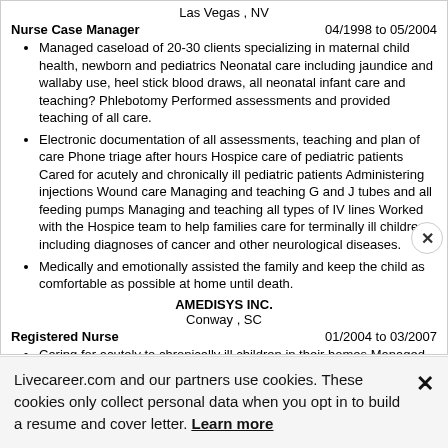Las Vegas , NV
Nurse Case Manager    04/1998 to 05/2004
Managed caseload of 20-30 clients specializing in maternal child health, newborn and pediatrics Neonatal care including jaundice and wallaby use, heel stick blood draws, all neonatal infant care and teaching? Phlebotomy Performed assessments and provided teaching of all care.
Electronic documentation of all assessments, teaching and plan of care Phone triage after hours Hospice care of pediatric patients Cared for acutely and chronically ill pediatric patients Administering injections Wound care Managing and teaching G and J tubes and all feeding pumps Managing and teaching all types of IV lines Worked with the Hospice team to help families care for terminally ill children including diagnoses of cancer and other neurological diseases.
Medically and emotionally assisted the family and keep the child as comfortable as possible at home until death.
AMEDISYS INC.
Conway , SC
Registered Nurse    01/2004 to 03/2007
Caring for acutely to chronically ill children in their homes Managed central venous lines including line care, dressing changes, blood draws and administering all medications Portacath accessing and deaccessing and
Livecareer.com and our partners use cookies. These cookies only collect personal data when you opt in to build a resume and cover letter. Learn more